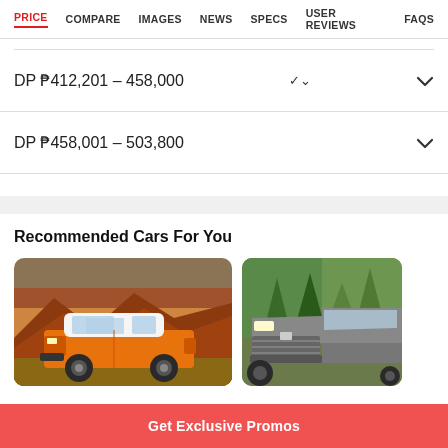PRICE  COMPARE  IMAGES  NEWS  SPECS  USER REVIEWS  FAQS
DP ₱412,201 – 458,000
DP ₱458,001 – 503,800
Recommended Cars For You
[Figure (photo): Orange Toyota FJ Cruiser SUV parked in a rocky desert landscape with red rock formations in background]
[Figure (photo): Gray Toyota pickup truck/Hilux in a forest/mountain setting with green trees in background]
Get Exclusive Promos